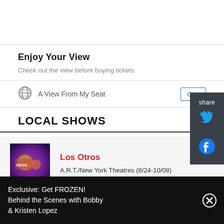Enjoy Your View
Check out the view before buying tickets
A View From My Seat
LOCAL SHOWS
Los Otros
A.R.T./New York Theatres (8/24-10/08)
Exclusive: Get FROZEN! Behind the Scenes with Bobby & Kristen Lopez